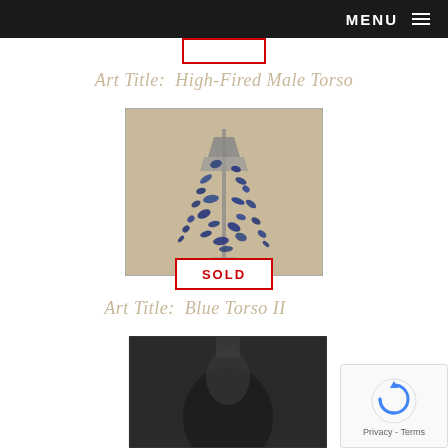MENU
SOLD
Art Title:  High-Fired Male Torso
[Figure (photo): Sculpture of a male torso form with blue ceramic fragments or shards radiating outward from the form against a beige/grey background]
SOLD
Art Title:  Blue Torso II
[Figure (photo): Partial view of a dark artwork, appears to be the top of a torso sculpture on dark background]